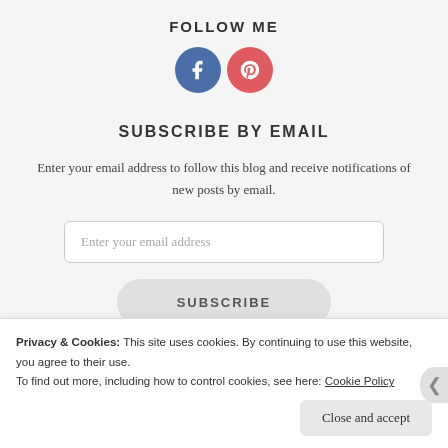FOLLOW ME
[Figure (illustration): Two social media icons: a blue Facebook circle icon and a red/coral Pinterest circle icon]
SUBSCRIBE BY EMAIL
Enter your email address to follow this blog and receive notifications of new posts by email.
Enter your email address (input field)
SUBSCRIBE (button)
Privacy & Cookies: This site uses cookies. By continuing to use this website, you agree to their use.
To find out more, including how to control cookies, see here: Cookie Policy
Close and accept